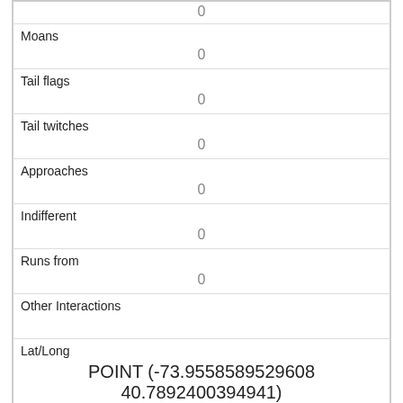| Moans | 0 |
| Tail flags | 0 |
| Tail twitches | 0 |
| Approaches | 0 |
| Indifferent | 0 |
| Runs from | 0 |
| Other Interactions |  |
| Lat/Long | POINT (-73.9558589529608 40.7892400394941) |
| Link | 861 |
| rowid |  |